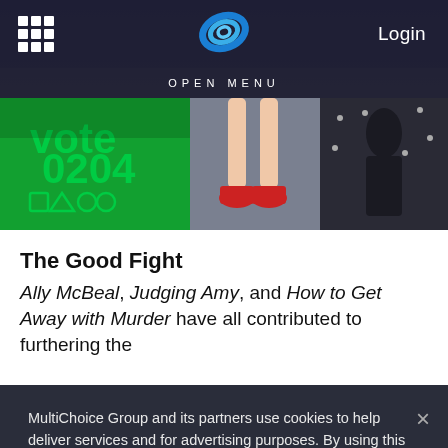Login
[Figure (screenshot): Website navigation bar with grid icon, blue logo, and Login text on dark background, with OPEN MENU label below]
[Figure (photo): Three fashion/street photos side by side: green background with symbols, legs with red shoes, dark background with sequins]
The Good Fight
Ally McBeal, Judging Amy, and How to Get Away with Murder have all contributed to furthering the
MultiChoice Group and its partners use cookies to help deliver services and for advertising purposes. By using this site you agree to this. You can change your cookie settings by clicking on Manage Cookies in the footer of the page. For more information, see our Privacy Policy